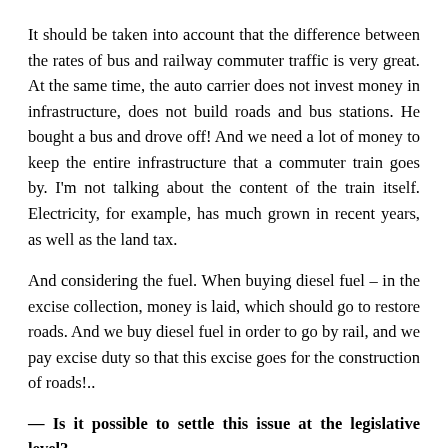It should be taken into account that the difference between the rates of bus and railway commuter traffic is very great. At the same time, the auto carrier does not invest money in infrastructure, does not build roads and bus stations. He bought a bus and drove off! And we need a lot of money to keep the entire infrastructure that a commuter train goes by. I'm not talking about the content of the train itself. Electricity, for example, has much grown in recent years, as well as the land tax.
And considering the fuel. When buying diesel fuel – in the excise collection, money is laid, which should go to restore roads. And we buy diesel fuel in order to go by rail, and we pay excise duty so that this excise goes for the construction of roads!..
— Is it possible to settle this issue at the legislative level?
— Now they are trying to experiment in the Lviv region, where they will monetize the benefits. But this is like one of the options … Note that in the whole world there is not